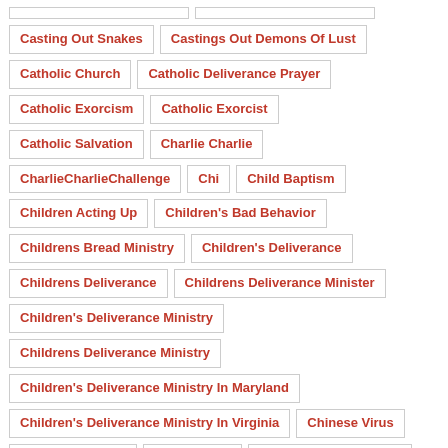Casting Out Snakes
Castings Out Demons Of Lust
Catholic Church
Catholic Deliverance Prayer
Catholic Exorcism
Catholic Exorcist
Catholic Salvation
Charlie Charlie
CharlieCharlieChallenge
Chi
Child Baptism
Children Acting Up
Children's Bad Behavior
Childrens Bread Ministry
Children's Deliverance
Childrens Deliverance
Childrens Deliverance Minister
Children's Deliverance Ministry
Childrens Deliverance Ministry
Children's Deliverance Ministry In Maryland
Children's Deliverance Ministry In Virginia
Chinese Virus
Choking At Night
Chris Lasala
Christ And The Church
Christian Counseling
Christian Counselor
Christian Counseling
Christian Deliverance